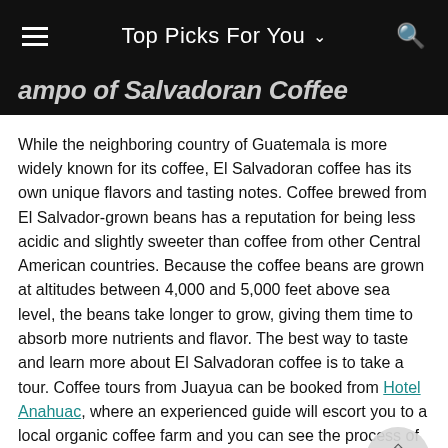Top Picks For You
…ampo of Salvadoran Coffee
While the neighboring country of Guatemala is more widely known for its coffee, El Salvadoran coffee has its own unique flavors and tasting notes. Coffee brewed from El Salvador-grown beans has a reputation for being less acidic and slightly sweeter than coffee from other Central American countries. Because the coffee beans are grown at altitudes between 4,000 and 5,000 feet above sea level, the beans take longer to grow, giving them time to absorb more nutrients and flavor. The best way to taste and learn more about El Salvadoran coffee is to take a tour. Coffee tours from Juayua can be booked from Hotel Anahuac, where an experienced guide will escort you to a local organic coffee farm and you can see the process of harvesting, roasting, and brewing the perfect cup of El Salvadoran coffee.